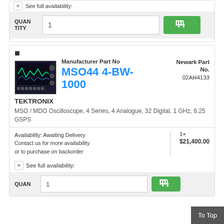+ See full availability:
QUANTITY | 1 | [cart button]
■
Manufacturer Part No
MSO44 4-BW-1000
Newark Part No. 02AH4133
TEKTRONIX
MSO / MDO Oscilloscope, 4 Series, 4 Analogue, 32 Digital, 1 GHz, 6.25 GSPS
Availability: Awaiting Delivery
Contact us for more availability or to purchase on backorder
1+
$21,400.00
+ See full availability:
QUAN | 1 | [cart button]
To Top